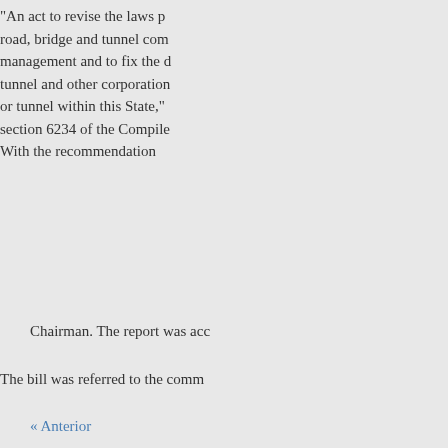“An act to revise the laws p road, bridge and tunnel com management and to fix the d tunnel and other corporation or tunnel within this State,” section 6234 of the Compile With the recommendation
Chairman. The report was acc
The bill was referred to the comm
By the Committee on Railro The Committee on Railroad Senate bill No. 398 (file No
“A bill to protect railroad and parts thereof and to provide a pe
With the following amendment t
By inserting in line 12 of secti dollars.”
« Anterior